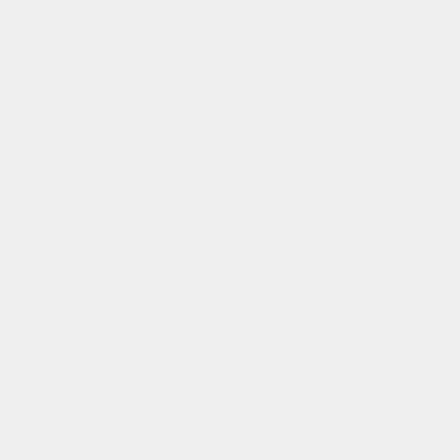2021. Inflammation in Coronary Microvascular Dysfunction
348684682021. Change blood viscosity after